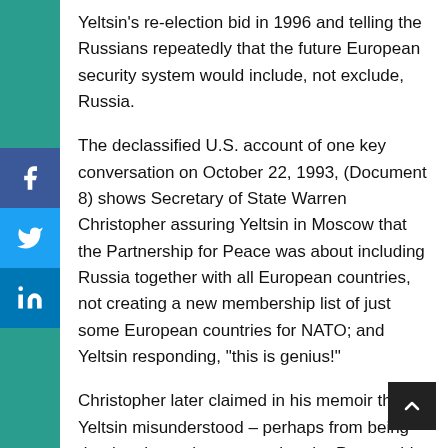Yeltsin's re-election bid in 1996 and telling the Russians repeatedly that the future European security system would include, not exclude, Russia.
The declassified U.S. account of one key conversation on October 22, 1993, (Document 8) shows Secretary of State Warren Christopher assuring Yeltsin in Moscow that the Partnership for Peace was about including Russia together with all European countries, not creating a new membership list of just some European countries for NATO; and Yeltsin responding, "this is genius!"
Christopher later claimed in his memoir that Yeltsin misunderstood – perhaps from being drunk – the real message that the Partnership for Peace would in fact "lead to gradual expansion of NATO";[1] but the actual